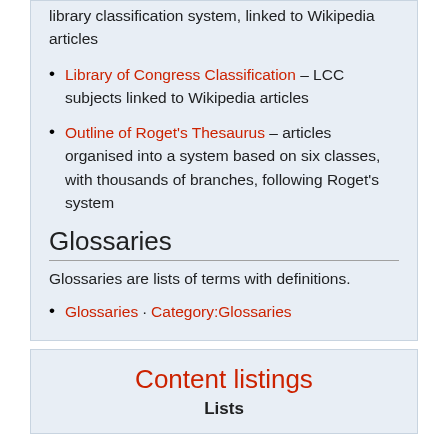library classification system, linked to Wikipedia articles
Library of Congress Classification – LCC subjects linked to Wikipedia articles
Outline of Roget's Thesaurus – articles organised into a system based on six classes, with thousands of branches, following Roget's system
Glossaries
Glossaries are lists of terms with definitions.
Glossaries · Category:Glossaries
Content listings
Lists